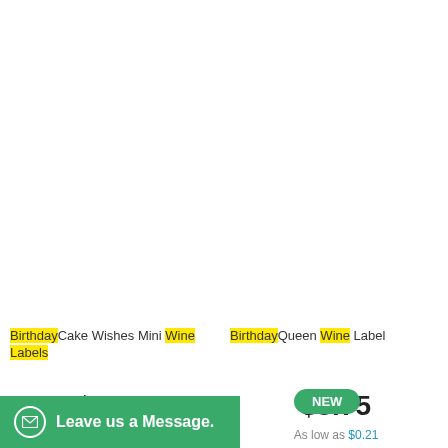Birthday Cake Wishes Mini Wine Labels
$0.99
Birthday Queen Wine Label
$3.75
As low as $0.21
1 for each $3.75
NEW
Leave us a Message.